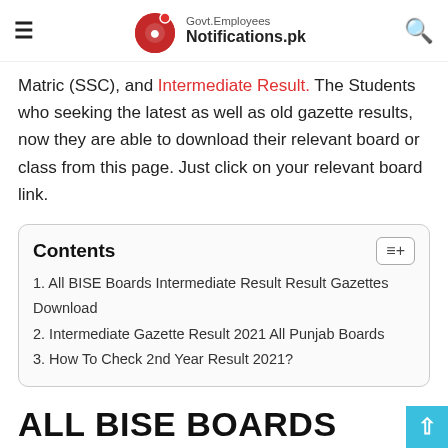Govt.Employees Notifications.pk
Matric (SSC), and Intermediate Result. The Students who seeking the latest as well as old gazette results, now they are able to download their relevant board or class from this page. Just click on your relevant board link.
| Contents |
| --- |
| 1. All BISE Boards Intermediate Result Result Gazettes Download |
| 2. Intermediate Gazette Result 2021 All Punjab Boards |
| 3. How To Check 2nd Year Result 2021? |
ALL BISE BOARDS INTERMEDIATE RESULT RESULT